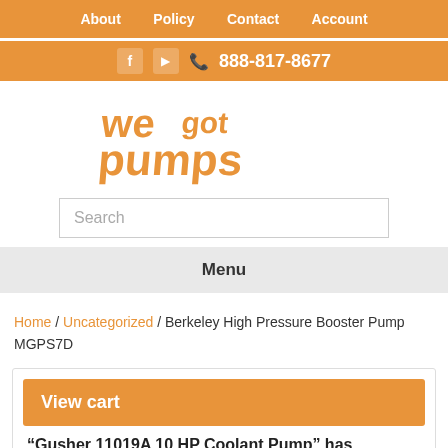About  Policy  Contact  Account
f  [youtube]  888-817-8677
[Figure (logo): We Got Pumps logo in orange stylized text]
Search
Menu
Home / Uncategorized / Berkeley High Pressure Booster Pump MGPS7D
View cart
"Gusher 11019A 10 HP Coolant Pump" has